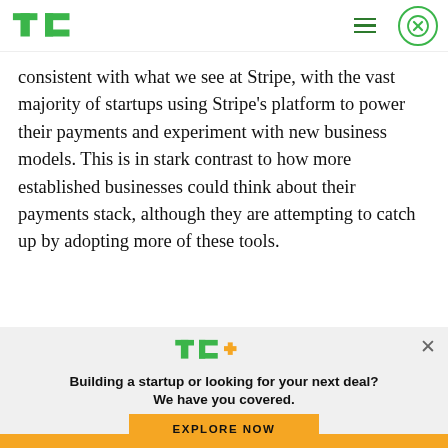TechCrunch logo and navigation
consistent with what we see at Stripe, with the vast majority of startups using Stripe’s platform to power their payments and experiment with new business models. This is in stark contrast to how more established businesses could think about their payments stack, although they are attempting to catch up by adopting more of these tools.
[Figure (logo): TechCrunch TC+ logo with green TC and orange plus sign]
Building a startup or looking for your next deal? We have you covered.
EXPLORE NOW